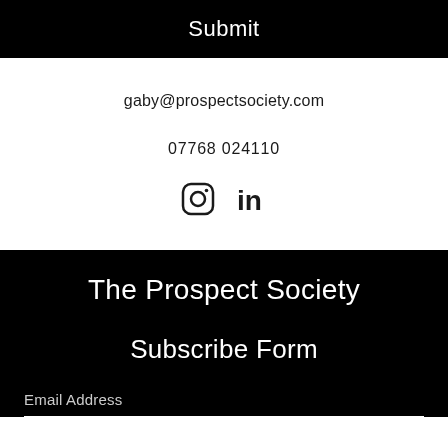Submit
gaby@prospectsociety.com
07768 024110
[Figure (other): Instagram and LinkedIn social media icons]
The Prospect Society
Subscribe Form
Email Address